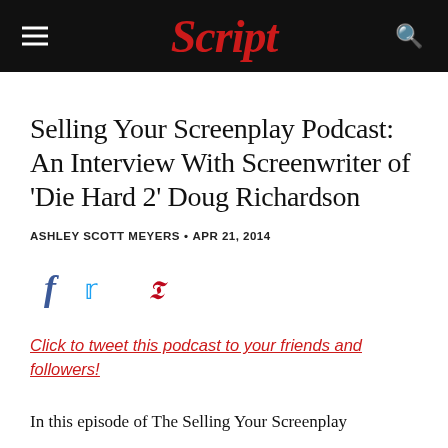Script
Selling Your Screenplay Podcast: An Interview With Screenwriter of 'Die Hard 2' Doug Richardson
ASHLEY SCOTT MEYERS • APR 21, 2014
[Figure (other): Social media share icons: Facebook, Twitter, Pinterest]
Click to tweet this podcast to your friends and followers!
In this episode of The Selling Your Screenplay